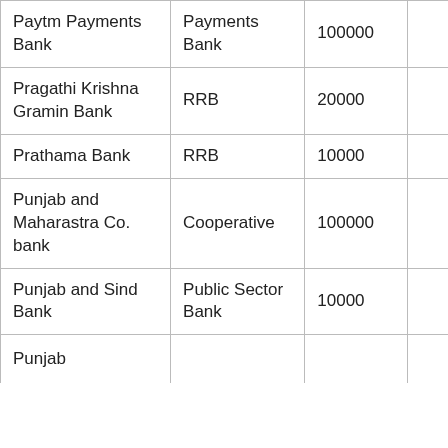| Paytm Payments Bank | Payments Bank | 100000 |  |
| Pragathi Krishna Gramin Bank | RRB | 20000 |  |
| Prathama Bank | RRB | 10000 |  |
| Punjab and Maharastra Co. bank | Cooperative | 100000 |  |
| Punjab and Sind Bank | Public Sector Bank | 10000 |  |
| Punjab... |  |  |  |